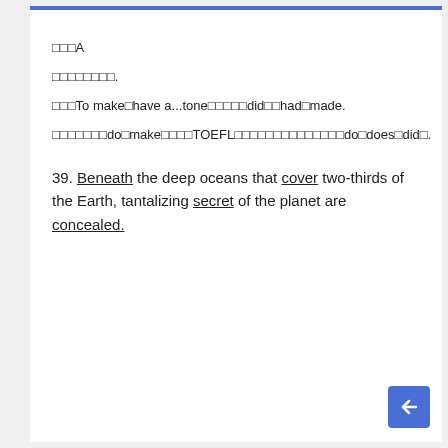□□□A
□□□□□□□□.
□□□To make□have a...tone□□□□□did□□had□made.
□□□□□□□do□make□□□□TOEFL□□□□□□□□□□□□□□do□does□did□.
39. Beneath the deep oceans that cover two-thirds of the Earth, tantalizing secret of the planet are concealed.